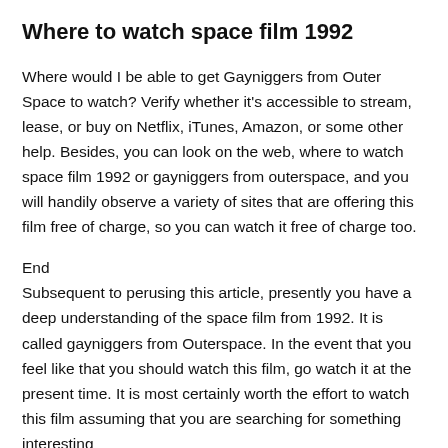Where to watch space film 1992
Where would I be able to get Gayniggers from Outer Space to watch? Verify whether it's accessible to stream, lease, or buy on Netflix, iTunes, Amazon, or some other help. Besides, you can look on the web, where to watch space film 1992 or gayniggers from outerspace, and you will handily observe a variety of sites that are offering this film free of charge, so you can watch it free of charge too.
End
Subsequent to perusing this article, presently you have a deep understanding of the space film from 1992. It is called gayniggers from Outerspace. In the event that you feel like that you should watch this film, go watch it at the present time. It is most certainly worth the effort to watch this film assuming that you are searching for something interesting